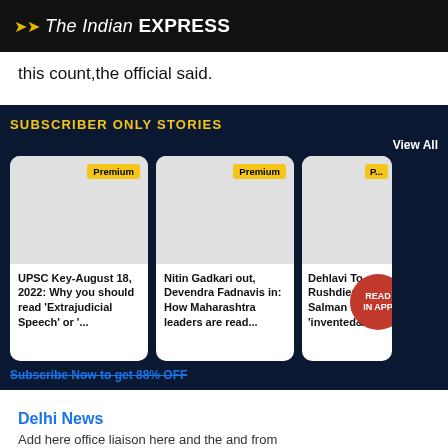The Indian EXPRESS
this count,the official said.
SUBSCRIBER ONLY STORIES
View All
[Figure (screenshot): Premium card: UPSC Key-August 18, 2022: Why you should read 'Extrajudicial Speech' or '...]
[Figure (screenshot): Premium card: Nitin Gadkari out, Devendra Fadnavis in: How Maharashtra leaders are read...]
[Figure (screenshot): Premium card: Dehlavi To Rushdie: Salman father 'invented&#82...]
Subscribe Now to get 88% OFF
Delhi News
Add here office liaison here and the and from